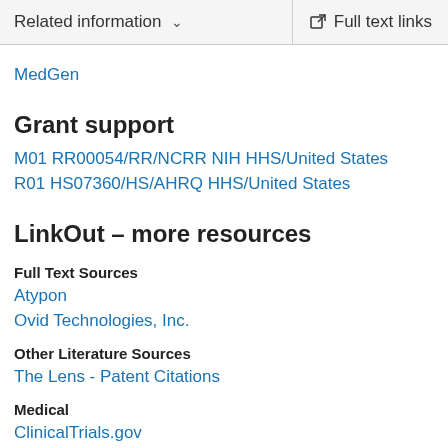Related information  ∨  Full text links
MedGen
Grant support
M01 RR00054/RR/NCRR NIH HHS/United States
R01 HS07360/HS/AHRQ HHS/United States
LinkOut – more resources
Full Text Sources
Atypon
Ovid Technologies, Inc.
Other Literature Sources
The Lens - Patent Citations
Medical
ClinicalTrials.gov